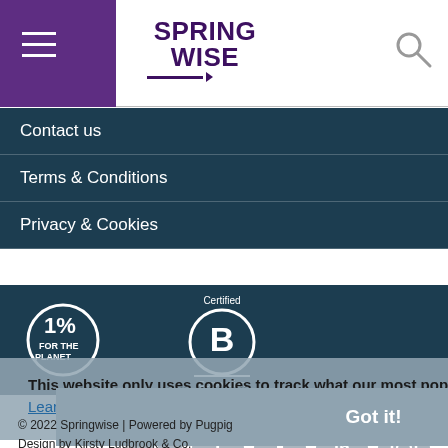SPRINGWISE
Contact us
Terms & Conditions
Privacy & Cookies
[Figure (logo): 1% for the Planet logo and Certified B Corporation logo on dark teal background]
This website only uses cookies to track what our most popular innovations are. No marketing or ad-tracking! Learn more
[Figure (infographic): Social media icons: Facebook, Twitter, Tumblr, LinkedIn, Instagram]
Got it!
© 2022 Springwise | Powered by Pugpig Design by Kirsty Ludbrook & Co.